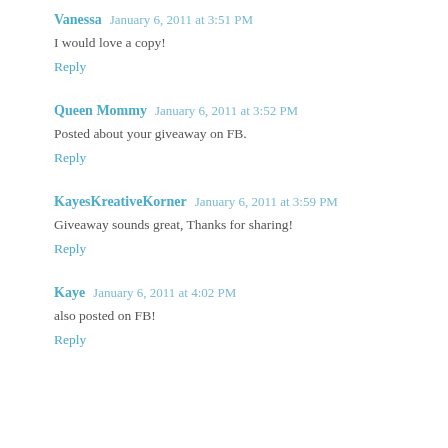Vanessa  January 6, 2011 at 3:51 PM
I would love a copy!
Reply
Queen Mommy  January 6, 2011 at 3:52 PM
Posted about your giveaway on FB.
Reply
KayesKreativeKorner  January 6, 2011 at 3:59 PM
Giveaway sounds great, Thanks for sharing!
Reply
Kaye  January 6, 2011 at 4:02 PM
also posted on FB!
Reply